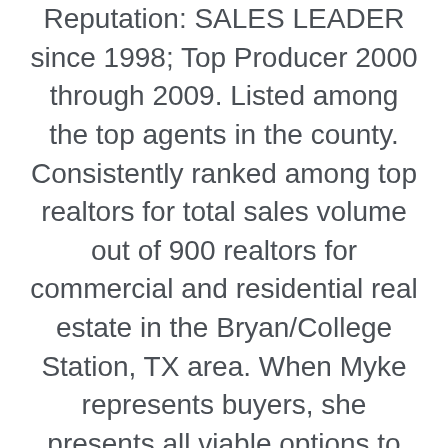Reputation: SALES LEADER since 1998; Top Producer 2000 through 2009. Listed among the top agents in the county. Consistently ranked among top realtors for total sales volume out of 900 realtors for commercial and residential real estate in the Bryan/College Station, TX area. When Myke represents buyers, she presents all viable options to her clients, including those properties that are not officially listed, but could be available for sale based on her inside information. Her